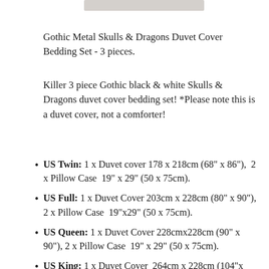Gothic Metal Skulls & Dragons Duvet Cover Bedding Set - 3 pieces.
Killer 3 piece Gothic black & white Skulls & Dragons duvet cover bedding set! *Please note this is a duvet cover, not a comforter!
US Twin: 1 x Duvet cover 178 x 218cm (68" x 86"),  2 x Pillow Case  19" x 29" (50 x 75cm).
US Full: 1 x Duvet Cover 203cm x 228cm (80" x 90"), 2 x Pillow Case  19"x29" (50 x 75cm).
US Queen: 1 x Duvet Cover 228cmx228cm (90" x 90"), 2 x Pillow Case  19" x 29" (50 x 75cm).
US King: 1 x Duvet Cover  264cm x 228cm (104"x